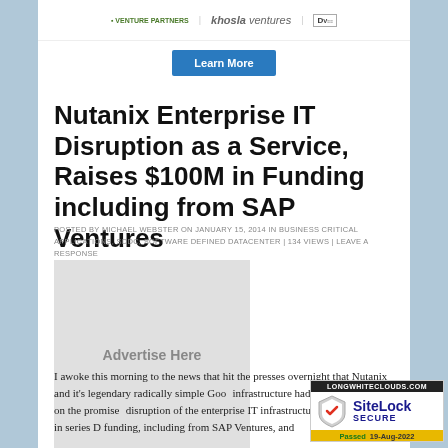[Figure (logo): Top banner with venture partner logos: Venture Partners, Khosla Ventures, DV logo]
[Figure (other): Learn More button (blue)]
Nutanix Enterprise IT Disruption as a Service, Raises $100M in Funding including from SAP Ventures
POSTED BY MICHAEL WEBSTER ON JANUARY 15, 2014 IN BUSINESS CRITICAL APPLICATIONS, SDDC, SOFTWARE DEFINED DATACENTER | 134 VIEWS | LEAVE A RESPONSE
[Figure (other): Advertise Here placeholder box]
I awoke this morning to the news that hit the presses overnight that Nutanix and it's legendary radically simple Goo... infrastructure had really delivered on the promise... disruption of the enterprise IT infrastructure marke... $100M in series D funding, including from SAP Ventures, and...
[Figure (logo): SiteLock Secure badge - LONGWHITECLOUDS.COM, Passed 19-Aug-2022]